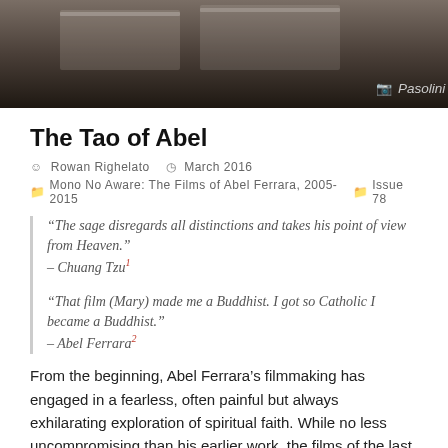[Figure (photo): Dark interior photo of a restaurant setting with white tablecloths and chairs. Caption reads 'Pasolini' with a camera icon.]
The Tao of Abel
Rowan Righelato   March 2016
Mono No Aware: The Films of Abel Ferrara, 2005-2015   Issue 78
“The sage disregards all distinctions and takes his point of view from Heaven.” – Chuang Tzu¹
“That film (Mary) made me a Buddhist. I got so Catholic I became a Buddhist.” – Abel Ferrara²
From the beginning, Abel Ferrara’s filmmaking has engaged in a fearless, often painful but always exhilarating exploration of spiritual faith. While no less uncompromising than his earlier work, the films of the last decade – particularly Mary (2005)